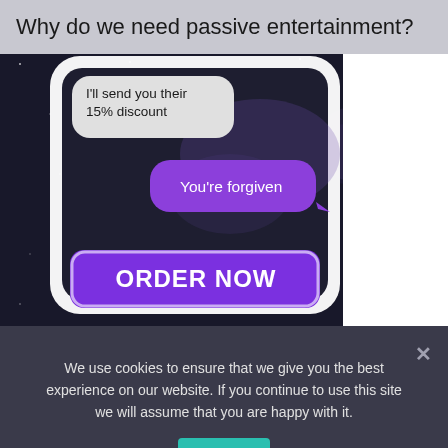Why do we need passive entertainment?
[Figure (screenshot): Screenshot of a phone messaging app with a dark galaxy/space background. Two SMS bubbles are visible: a grey bubble on the left reading 'I'll send you their 15% discount', and a purple bubble on the right reading 'You're forgiven'. Below the messages there is a large purple 'ORDER NOW' button with a white border.]
We use cookies to ensure that we give you the best experience on our website. If you continue to use this site we will assume that you are happy with it.